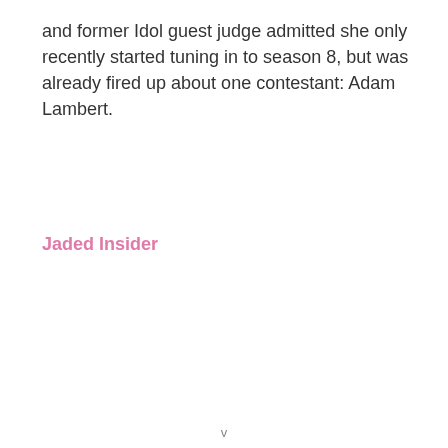and former Idol guest judge admitted she only recently started tuning in to season 8, but was already fired up about one contestant: Adam Lambert.
Jaded Insider
v